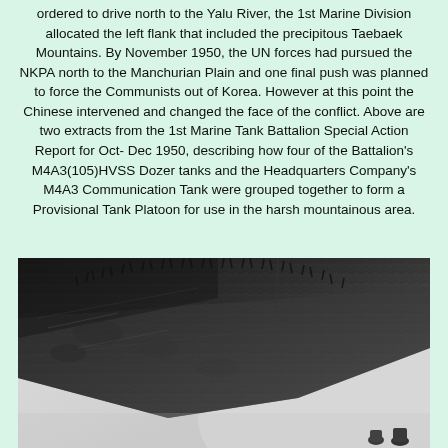ordered to drive north to the Yalu River, the 1st Marine Division allocated the left flank that included the precipitous Taebaek Mountains. By November 1950, the UN forces had pursued the NKPA north to the Manchurian Plain and one final push was planned to force the Communists out of Korea. However at this point the Chinese intervened and changed the face of the conflict. Above are two extracts from the 1st Marine Tank Battalion Special Action Report for Oct-Dec 1950, describing how four of the Battalion's M4A3(105)HVSS Dozer tanks and the Headquarters Company's M4A3 Communication Tank were grouped together to form a Provisional Tank Platoon for use in the harsh mountainous area.
[Figure (photo): Black and white photograph showing a steep rocky hillside or mountainside with sparse vegetation/grass along the ridge. Two figures are barely visible at the bottom right corner of the image. The terrain appears rugged and mountainous, consistent with Korean War era photography.]